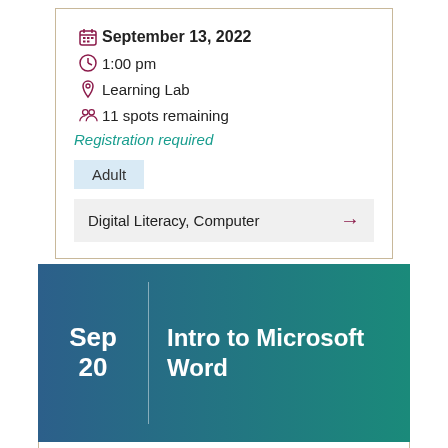September 13, 2022
1:00 pm
Learning Lab
11 spots remaining
Registration required
Adult
Digital Literacy, Computer
Intro to Microsoft Word
Sep 20